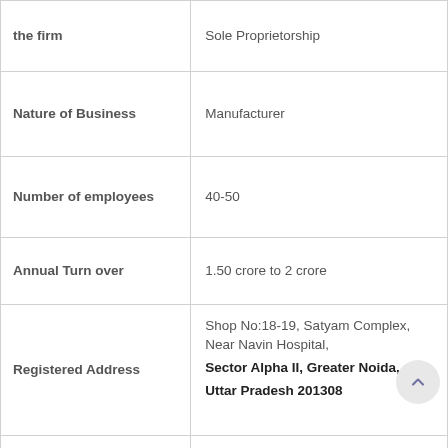| Field | Value |
| --- | --- |
| the firm | Sole Proprietorship |
| Nature of Business | Manufacturer |
| Number of employees | 40-50 |
| Annual Turn over | 1.50 crore to 2 crore |
| Registered Address | Shop No:18-19, Satyam Complex, Near Navin Hospital, Sector Alpha II, Greater Noida, Uttar Pradesh 201308 |
| Contact No. | 0120-4282199, +91-9650501299 |
| Email | info@fancydressnoida.com
sales@fancydressnoida.com |
| Website | www.fancydressnoida.com |